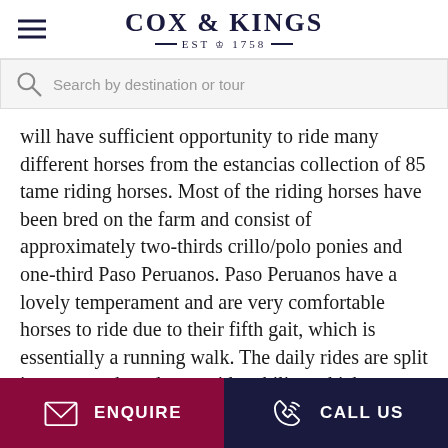[Figure (logo): Cox & Kings logo with EST 1758 tagline]
Search by destination or tour
will have sufficient opportunity to ride many different horses from the estancias collection of 85 tame riding horses. Most of the riding horses have been bred on the farm and consist of approximately two-thirds crillo/polo ponies and one-third Paso Peruanos. Paso Peruanos have a lovely temperament and are very comfortable horses to ride due to their fifth gait, which is essentially a running walk. The daily rides are split into groups based upon rider ability, which on
ENQUIRE
CALL US